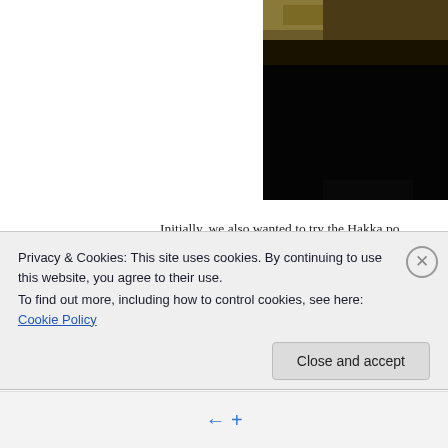[Figure (photo): Partially visible food photo with dark background, cropped at top-right of page]
Initially, we also wanted to try the Hakka po the dish for this alone), and greens, but the Normally, I don't like foods that are too tart,
Privacy & Cookies: This site uses cookies. By continuing to use this website, you agree to their use. To find out more, including how to control cookies, see here: Cookie Policy
Close and accept